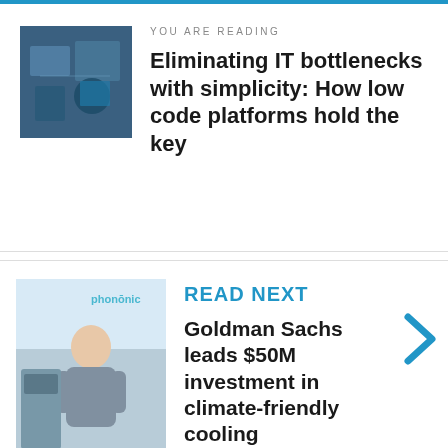YOU ARE READING
Eliminating IT bottlenecks with simplicity: How low code platforms hold the key
READ NEXT
Goldman Sachs leads $50M investment in climate-friendly cooling